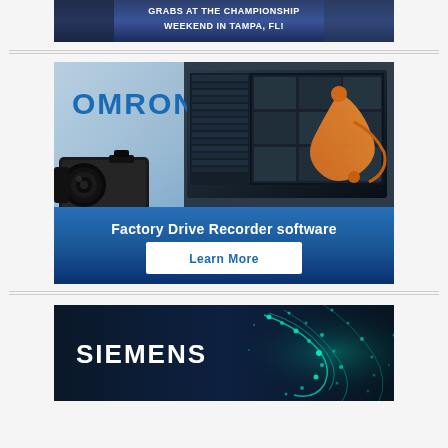[Figure (illustration): Championship Weekend in Tampa, FL advertisement banner - white text on dark blue gradient background]
[Figure (illustration): Omron Factory Drive Recorder software advertisement featuring Omron logo, industrial camera, laptop with factory monitoring software, robotic arm, and a Learn More button on blue gradient background]
[Figure (illustration): Siemens advertisement with white bold Siemens logo on dark navy background with teal/cyan glowing particle swirl pattern on the right side]